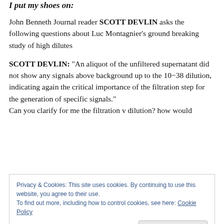I put my shoes on:
John Benneth Journal reader SCOTT DEVLIN asks the following questions about Luc Montagnier's ground breaking study of high dilutes
SCOTT DEVLIN: “An aliquot of the unfiltered supernatant did not show any signals above background up to the 10−38 dilution, indicating again the critical importance of the filtration step for the generation of specific signals.”
Can you clarify for me the filtration v dilution? how would
Privacy & Cookies: This site uses cookies. By continuing to use this website, you agree to their use.
To find out more, including how to control cookies, see here: Cookie Policy
JOHN BENNETH: You’ve focused on one of the most